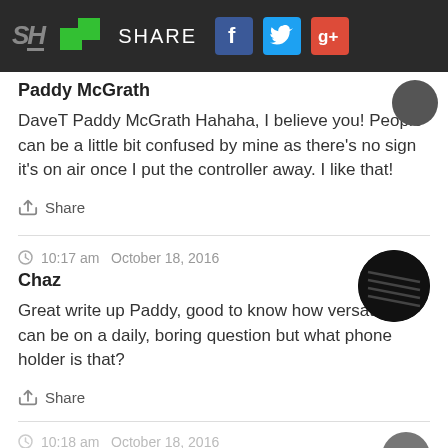[Figure (screenshot): Navigation bar with SH logo, green chat squares, SHARE text, Facebook, Twitter and Google+ icons on dark background]
Paddy McGrath
DaveT Paddy McGrath Hahaha, I believe you! People can be a little bit confused by mine as there's no sign it's on air once I put the controller away. I like that!
Share
10:17 am  October 18, 2016
Chaz
Great write up Paddy, good to know how versatile air can be on a daily, boring question but what phone holder is that?
Share
10:18 am  October 18, 2016